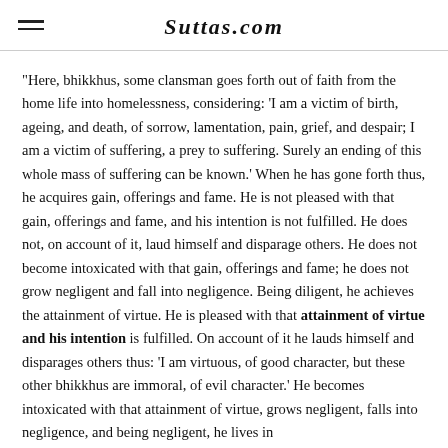Suttas.com
"Here, bhikkhus, some clansman goes forth out of faith from the home life into homelessness, considering: 'I am a victim of birth, ageing, and death, of sorrow, lamentation, pain, grief, and despair; I am a victim of suffering, a prey to suffering. Surely an ending of this whole mass of suffering can be known.' When he has gone forth thus, he acquires gain, offerings and fame. He is not pleased with that gain, offerings and fame, and his intention is not fulfilled. He does not, on account of it, laud himself and disparage others. He does not become intoxicated with that gain, offerings and fame; he does not grow negligent and fall into negligence. Being diligent, he achieves the attainment of virtue. He is pleased with that attainment of virtue and his intention is fulfilled. On account of it he lauds himself and disparages others thus: 'I am virtuous, of good character, but these other bhikkhus are immoral, of evil character.' He becomes intoxicated with that attainment of virtue, grows negligent, falls into negligence, and being negligent, he lives in